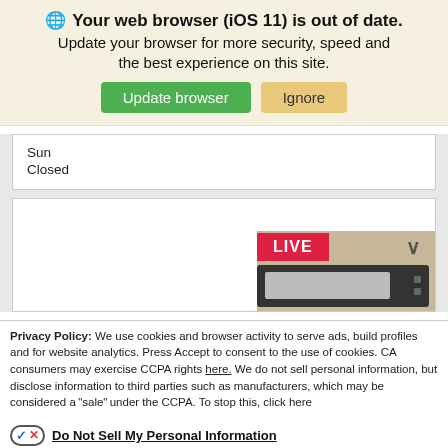Your web browser (iOS 11) is out of date. Update your browser for more security, speed and the best experience on this site.
Update browser | Ignore
Sun
Closed
[Figure (screenshot): Partial screenshot showing a LIVE badge widget with a device/thermostat image in the bottom-right of the page]
Privacy Policy: We use cookies and browser activity to serve ads, build profiles and for website analytics. Press Accept to consent to the use of cookies. CA consumers may exercise CCPA rights here. We do not sell personal information, but disclose information to third parties such as manufacturers, which may be considered a "sale" under the CCPA. To stop this, click here
Do Not Sell My Personal Information
Language: English ∨ Powered by ComplyAuto
Accept and Continue → | California Privacy Disclosures | ×